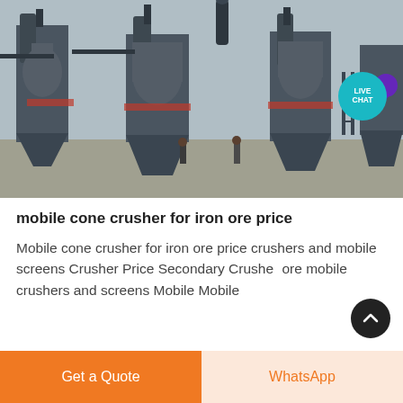[Figure (photo): Industrial mobile cone crusher equipment with large cyclone dust collectors and hopper chutes at a mining/quarry facility. Multiple workers visible in foreground. Gray industrial machinery against a sky background. A 'LIVE CHAT' badge overlay appears in the top-right corner.]
mobile cone crusher for iron ore price
Mobile cone crusher for iron ore price crushers and mobile screens Crusher Price Secondary Crusher ore mobile crushers and screens Mobile Mobile
Get a Quote
WhatsApp